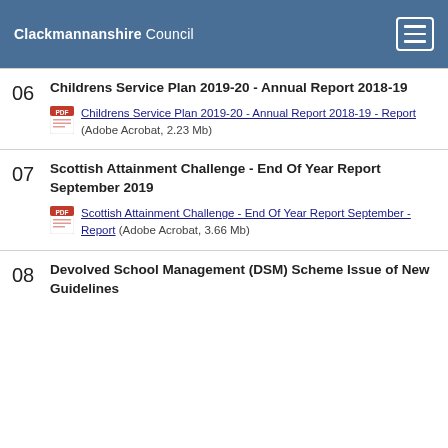Clackmannanshire Council
06 Childrens Service Plan 2019-20 - Annual Report 2018-19
Childrens Service Plan 2019-20 - Annual Report 2018-19 - Report (Adobe Acrobat, 2.23 Mb)
07 Scottish Attainment Challenge - End Of Year Report September 2019
Scottish Attainment Challenge - End Of Year Report September - Report (Adobe Acrobat, 3.66 Mb)
08 Devolved School Management (DSM) Scheme Issue of New Guidelines